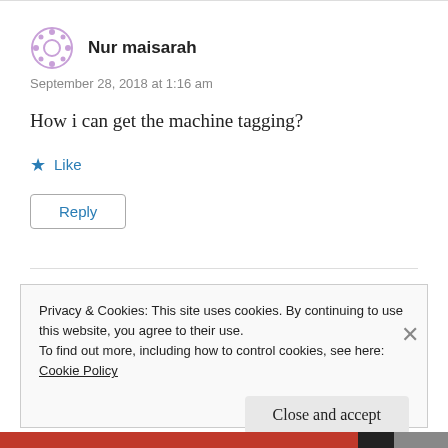Nur maisarah
September 28, 2018 at 1:16 am
How i can get the machine tagging?
★ Like
Reply
Privacy & Cookies: This site uses cookies. By continuing to use this website, you agree to their use.
To find out more, including how to control cookies, see here:
Cookie Policy
Close and accept